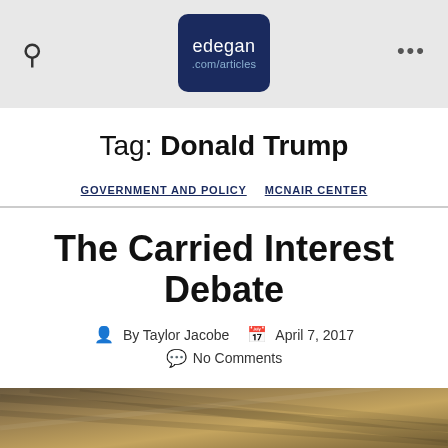edegan .com/articles
Tag: Donald Trump
GOVERNMENT AND POLICY   MCNAIR CENTER
The Carried Interest Debate
By Taylor Jacobe   April 7, 2017
No Comments
[Figure (photo): Photograph of US dollar bills fanned out, partially visible at the bottom of the page]